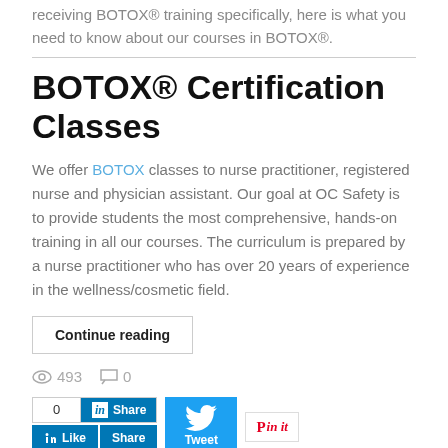receiving BOTOX® training specifically, here is what you need to know about our courses in BOTOX®.
BOTOX® Certification Classes
We offer BOTOX classes to nurse practitioner, registered nurse and physician assistant. Our goal at OC Safety is to provide students the most comprehensive, hands-on training in all our courses. The curriculum is prepared by a nurse practitioner who has over 20 years of experience in the wellness/cosmetic field.
Continue reading
493  0
[Figure (other): Social sharing buttons: LinkedIn Share with count 0, Like and Share buttons, Twitter Tweet button, Pinterest Pin it button]